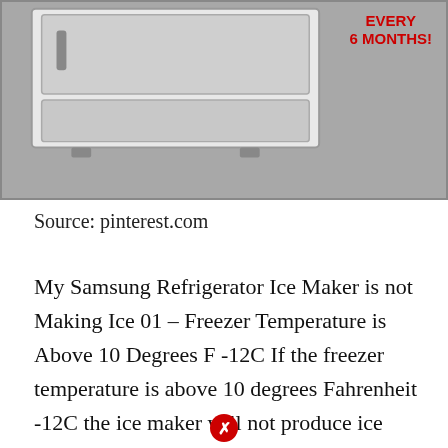[Figure (photo): Advertisement image showing a stainless steel Samsung refrigerator with text 'EVERY 6 MONTHS!' in red on the right side and a red banner at the bottom reading 'Where To Buy Filters For LESS!']
Source: pinterest.com
My Samsung Refrigerator Ice Maker is not Making Ice 01 - Freezer Temperature is Above 10 Degrees F -12C If the freezer temperature is above 10 degrees Fahrenheit -12C the ice maker will not produce ice cubes efficiently. Samsung Refrigerator troubleshooting Ice Machine Broke I...